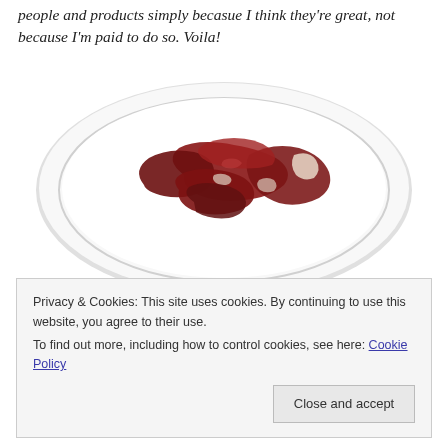people and products simply becasue I think they're great, not because I'm paid to do so. Voila!
[Figure (photo): A white oval plate with sliced cured meat (jamón/prosciutto) arranged in the center, on a white background.]
Privacy & Cookies: This site uses cookies. By continuing to use this website, you agree to their use. To find out more, including how to control cookies, see here: Cookie Policy